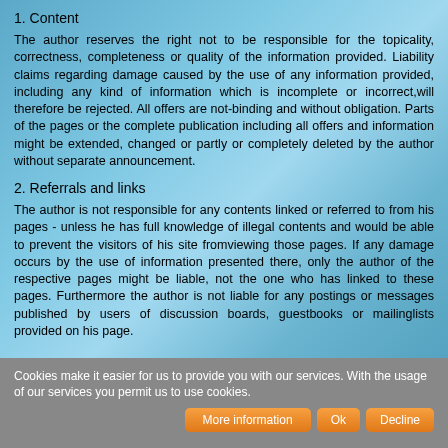1. Content
The author reserves the right not to be responsible for the topicality, correctness, completeness or quality of the information provided. Liability claims regarding damage caused by the use of any information provided, including any kind of information which is incomplete or incorrect,will therefore be rejected. All offers are not-binding and without obligation. Parts of the pages or the complete publication including all offers and information might be extended, changed or partly or completely deleted by the author without separate announcement.
2. Referrals and links
The author is not responsible for any contents linked or referred to from his pages - unless he has full knowledge of illegal contents and would be able to prevent the visitors of his site fromviewing those pages. If any damage occurs by the use of information presented there, only the author of the respective pages might be liable, not the one who has linked to these pages. Furthermore the author is not liable for any postings or messages published by users of discussion boards, guestbooks or mailinglists provided on his page.
Cookies make it easier for us to provide you with our services. With the usage of our services you permit us to use cookies.